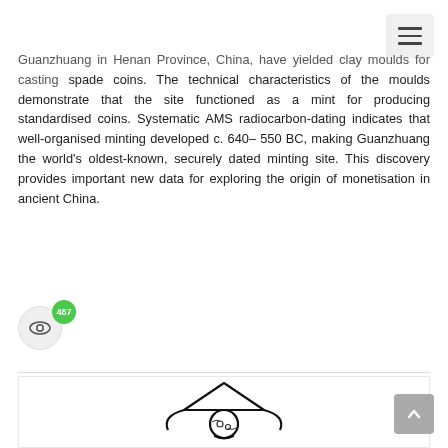Guanzhuang in Henan Province, China, have yielded clay moulds for casting spade coins. The technical characteristics of the moulds demonstrate that the site functioned as a mint for producing standardised coins. Systematic AMS radiocarbon-dating indicates that well-organised minting developed c. 640–550 BC, making Guanzhuang the world's oldest-known, securely dated minting site. This discovery provides important new data for exploring the origin of monetisation in ancient China.
[Figure (illustration): Partial illustration of a spade coin or related archaeological artefact, showing a sketch outline of a coin mould or spade coin shape with a circular element at the top.]